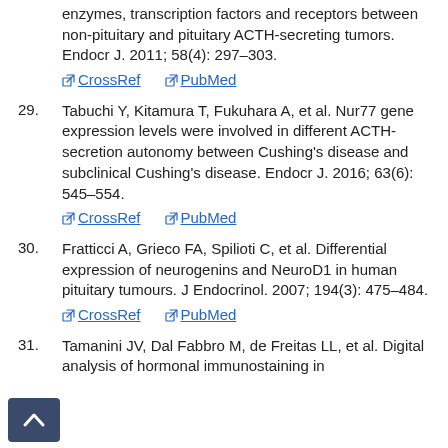enzymes, transcription factors and receptors between non-pituitary and pituitary ACTH-secreting tumors. Endocr J. 2011; 58(4): 297–303. CrossRef PubMed
29. Tabuchi Y, Kitamura T, Fukuhara A, et al. Nur77 gene expression levels were involved in different ACTH-secretion autonomy between Cushing's disease and subclinical Cushing's disease. Endocr J. 2016; 63(6): 545–554. CrossRef PubMed
30. Fratticci A, Grieco FA, Spilioti C, et al. Differential expression of neurogenins and NeuroD1 in human pituitary tumours. J Endocrinol. 2007; 194(3): 475–484. CrossRef PubMed
31. Tamanini JV, Dal Fabbro M, de Freitas LL, et al. Digital analysis of hormonal immunostaining in